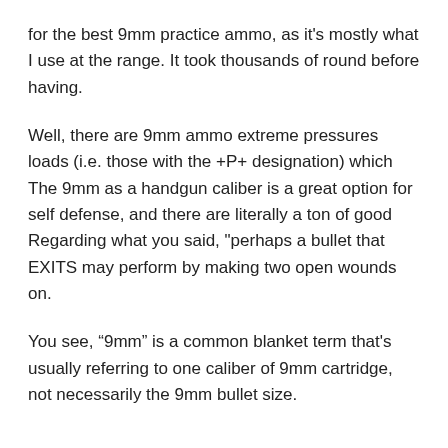for the best 9mm practice ammo, as it's mostly what I use at the range. It took thousands of round before having.
Well, there are 9mm ammo extreme pressures loads (i.e. those with the +P+ designation) which The 9mm as a handgun caliber is a great option for self defense, and there are literally a ton of good Regarding what you said, "perhaps a bullet that EXITS may perform by making two open wounds on.
You see, “9mm” is a common blanket term that's usually referring to one caliber of 9mm cartridge, not necessarily the 9mm bullet size.